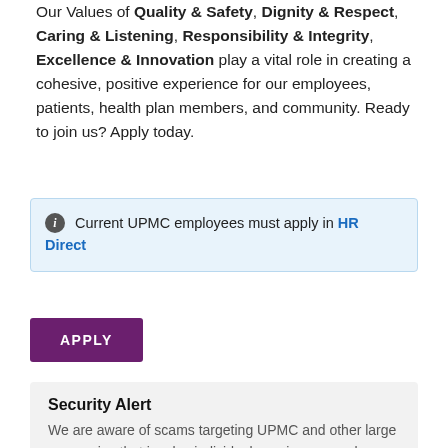Our Values of Quality & Safety, Dignity & Respect, Caring & Listening, Responsibility & Integrity, Excellence & Innovation play a vital role in creating a cohesive, positive experience for our employees, patients, health plan members, and community. Ready to join us? Apply today.
Current UPMC employees must apply in HR Direct
APPLY
Security Alert
We are aware of scams targeting UPMC and other large companies that involve individuals posing as employees to illegitimately conduct interviews